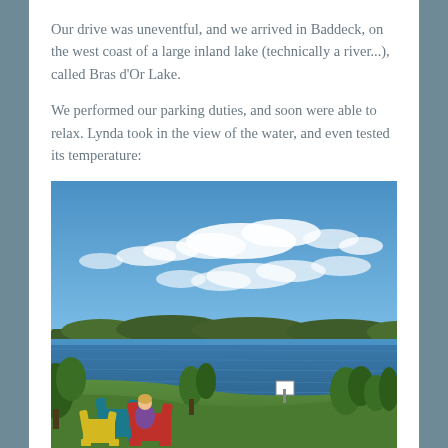Our drive was uneventful, and we arrived in Baddeck, on the west coast of a large inland lake (technically a river...), called Bras d'Or Lake.
We performed our parking duties, and soon were able to relax. Lynda took in the view of the water, and even tested its temperature:
[Figure (photo): Outdoor photo of a woman sitting in a colourful Adirondack chair on a grassy hillside overlooking Bras d'Or Lake. Multiple brightly coloured chairs (teal, yellow, red) are visible. The lake is calm and blue, with a low forested hill on the opposite shore. The sky is bright blue with scattered white clouds.]